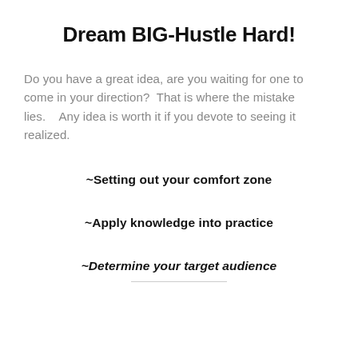Dream BIG-Hustle Hard!
Do you have a great idea, are you waiting for one to come in your direction?  That is where the mistake lies.    Any idea is worth it if you devote to seeing it realized.
~Setting out your comfort zone
~Apply knowledge into practice
~Determine your target audience